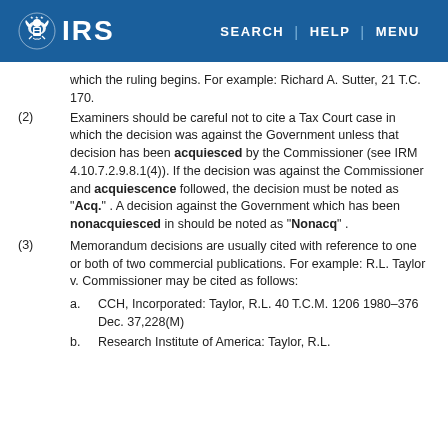IRS | SEARCH | HELP | MENU
which the ruling begins. For example: Richard A. Sutter, 21 T.C. 170.
(2) Examiners should be careful not to cite a Tax Court case in which the decision was against the Government unless that decision has been acquiesced by the Commissioner (see IRM 4.10.7.2.9.8.1(4)). If the decision was against the Commissioner and acquiescence followed, the decision must be noted as "Acq." . A decision against the Government which has been nonacquiesced in should be noted as "Nonacq" .
(3) Memorandum decisions are usually cited with reference to one or both of two commercial publications. For example: R.L. Taylor v. Commissioner may be cited as follows:
a. CCH, Incorporated: Taylor, R.L. 40 T.C.M. 1206 1980–376 Dec. 37,228(M)
b. Research Institute of America: Taylor, R.L.